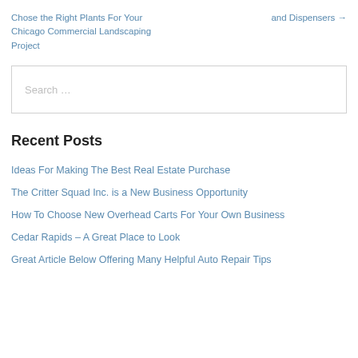Chose the Right Plants For Your Chicago Commercial Landscaping Project
and Dispensers →
Search ...
Recent Posts
Ideas For Making The Best Real Estate Purchase
The Critter Squad Inc. is a New Business Opportunity
How To Choose New Overhead Carts For Your Own Business
Cedar Rapids – A Great Place to Look
Great Article Below Offering Many Helpful Auto Repair Tips